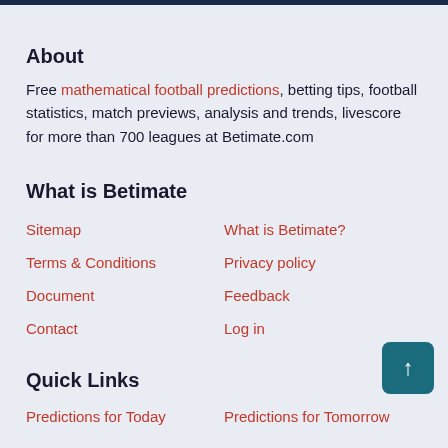About
Free mathematical football predictions, betting tips, football statistics, match previews, analysis and trends, livescore for more than 700 leagues at Betimate.com
What is Betimate
Sitemap
What is Betimate?
Terms & Conditions
Privacy policy
Document
Feedback
Contact
Log in
Quick Links
Predictions for Today
Predictions for Tomorrow